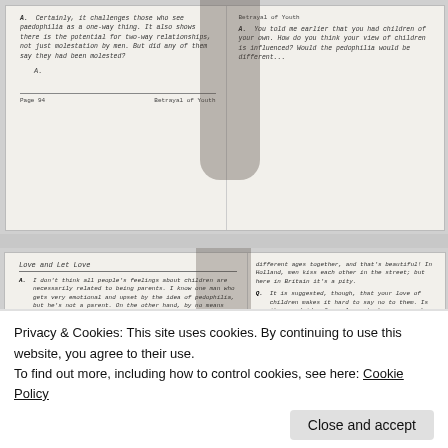[Figure (screenshot): Scanned document page top portion showing two columns of Q&A text in italic typewriter font. Left column shows a question about pedophilia and law-way relationships with answer 'A.' and page footer 'Page 94  Betrayal of Youth'. Right column shows 'Betrayal of Youth' header and a question about children of your own.]
[Figure (screenshot): Scanned document page bottom portion. Section titled 'Love and Let Love'. Three Q&A blocks visible: A. about people's feelings about children not necessarily related to being parents. Q. Do you feel that children are a 'special' category of people in any way? A. Sometimes yes I've had that feeling. Right column partially visible with additional Q&A text.]
Privacy & Cookies: This site uses cookies. By continuing to use this website, you agree to their use.
To find out more, including how to control cookies, see here: Cookie Policy
Close and accept